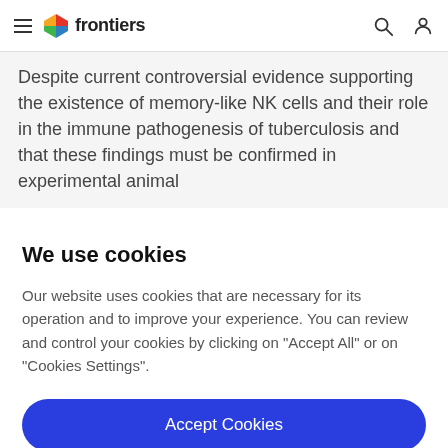frontiers
Despite current controversial evidence supporting the existence of memory-like NK cells and their role in the immune pathogenesis of tuberculosis and that these findings must be confirmed in experimental animal
We use cookies
Our website uses cookies that are necessary for its operation and to improve your experience. You can review and control your cookies by clicking on "Accept All" or on "Cookies Settings".
Accept Cookies
Cookies Settings